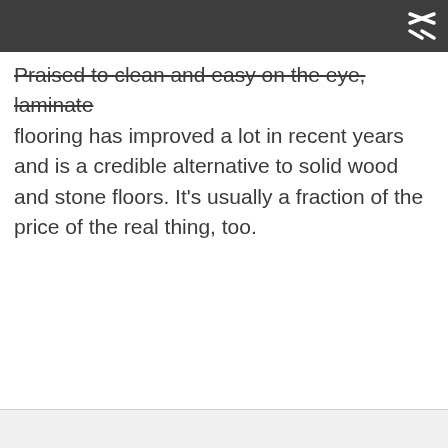Praised to clean and easy on the eye, laminate flooring has improved a lot in recent years and is a credible alternative to solid wood and stone floors. It's usually a fraction of the price of the real thing, too.